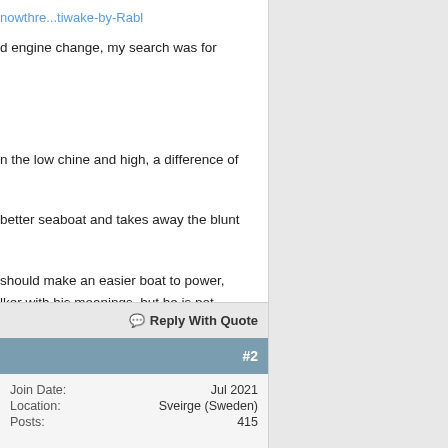knowthre...tiwake-by-Rabl
d engine change, my search was for
n the low chine and high, a difference of
better seaboat and takes away the blunt
should make an easier boat to power, lker with his meanings, but he is not be a better seaboat?
Reply With Quote
#2
| Join Date: | Jul 2021 |
| Location: | Sveirge (Sweden) |
| Posts: | 415 |